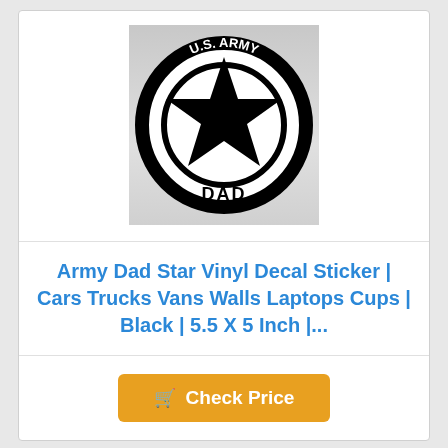[Figure (photo): Product image of U.S. Army Dad star vinyl decal sticker on a light gray background. Black circular star design with 'U.S. ARMY' text around the top arc and 'DAD' text at the bottom inside the ring.]
Army Dad Star Vinyl Decal Sticker | Cars Trucks Vans Walls Laptops Cups | Black | 5.5 X 5 Inch |...
Check Price
Top Pick # 8